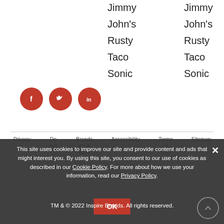Jimmy
John's
Rusty
Taco
Sonic
Jimmy
John's
Rusty
Taco
Sonic
[Figure (illustration): Three red circular social media icons: Facebook (f), Twitter (bird), LinkedIn (in)]
Privacy | Do Not | Brands Ad & Book | Accessibility | Terms of Use | Sitemap
This site uses cookies to improve our site and provide content and ads that might interest you. By using this site, you consent to our use of cookies as described in our Cookie Policy. For more about how we use your information, read our Privacy Policy.
TM & © 2022 Inspire Brands. All rights reserved.